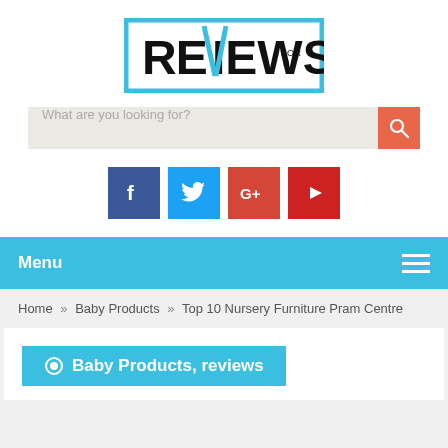[Figure (logo): Reviews For U logo — bold black text REVIEWS with teal/cyan rectangular border outline, 'FOR U' in small text inside the V cutout]
What are you looking for?
[Figure (infographic): Social media icon buttons: Facebook (dark blue, f), Twitter (light blue, bird), Google+ (red-orange, G+), YouTube (red, play triangle)]
Menu
Home » Baby Products » Top 10 Nursery Furniture Pram Centre
Baby Products, reviews